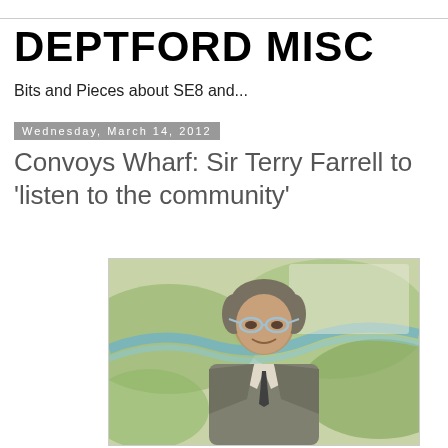DEPTFORD MISC
Bits and Pieces about SE8 and...
Wednesday, March 14, 2012
Convoys Wharf: Sir Terry Farrell to 'listen to the community'
[Figure (photo): Photograph of Sir Terry Farrell, an older man with grey hair and glasses, wearing a suit, standing in front of a colourful map on the wall behind him.]